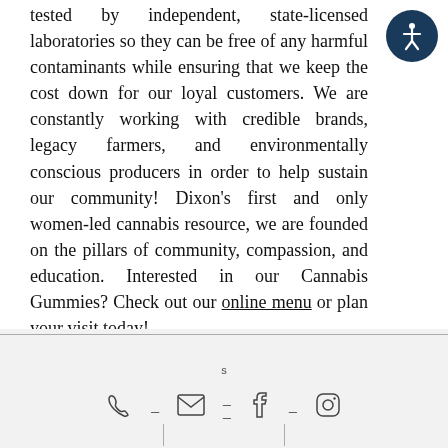tested by independent, state-licensed laboratories so they can be free of any harmful contaminants while ensuring that we keep the cost down for our loyal customers. We are constantly working with credible brands, legacy farmers, and environmentally conscious producers in order to help sustain our community! Dixon's first and only women-led cannabis resource, we are founded on the pillars of community, compassion, and education. Interested in our Cannabis Gummies? Check out our online menu or plan your visit today!
[Figure (illustration): Accessibility icon: white figure in a circle on dark navy background, top right corner]
[Figure (other): Footer bar with phone, email, facebook, and instagram icons separated by dashes, with a small 's' label above center. A rectangular border box is partially visible at the top of the footer. Two vertical lines appear at the very bottom.]